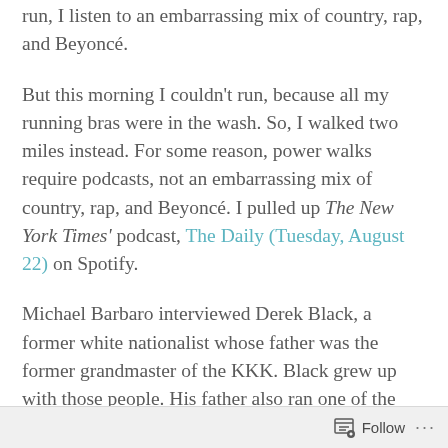run, I listen to an embarrassing mix of country, rap, and Beyoncé.
But this morning I couldn't run, because all my running bras were in the wash. So, I walked two miles instead. For some reason, power walks require podcasts, not an embarrassing mix of country, rap, and Beyoncé. I pulled up The New York Times' podcast, The Daily (Tuesday, August 22) on Spotify.
Michael Barbaro interviewed Derek Black, a former white nationalist whose father was the former grandmaster of the KKK. Black grew up with those people. His father also ran one of the
Follow ···